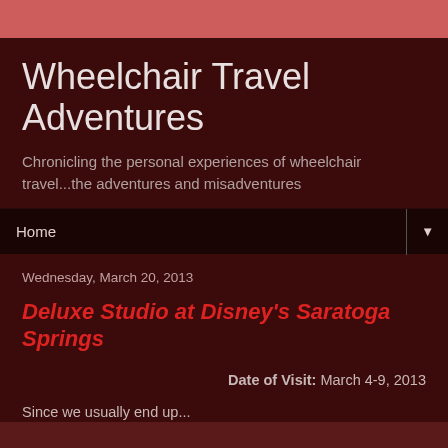Wheelchair Travel Adventures
Chronicling the personal experiences of wheelchair travel...the adventures and misadventures
Home
Wednesday, March 20, 2013
Deluxe Studio at Disney's Saratoga Springs
Date of Visit: March 4-9, 2013
Since we usually end up...